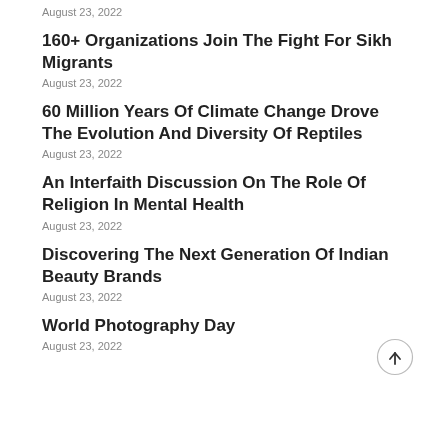August 23, 2022
160+ Organizations Join The Fight For Sikh Migrants
August 23, 2022
60 Million Years Of Climate Change Drove The Evolution And Diversity Of Reptiles
August 23, 2022
An Interfaith Discussion On The Role Of Religion In Mental Health
August 23, 2022
Discovering The Next Generation Of Indian Beauty Brands
August 23, 2022
World Photography Day
August 23, 2022